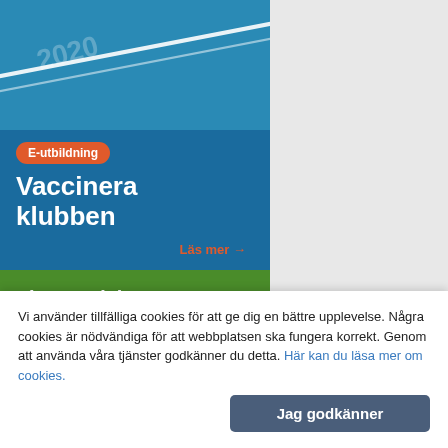[Figure (photo): Blue tennis court surface with white line markings, viewed from above. Card contains orange 'E-utbildning' badge, white title 'Vaccinera klubben', and orange 'Läs mer →' link on dark blue background.]
[Figure (photo): Green banner reading 'Vi är en del av Städa Sverige.' above a photo of people outdoors.]
Vi använder tillfälliga cookies för att ge dig en bättre upplevelse. Några cookies är nödvändiga för att webbplatsen ska fungera korrekt. Genom att använda våra tjänster godkänner du detta. Här kan du läsa mer om cookies.
Jag godkänner